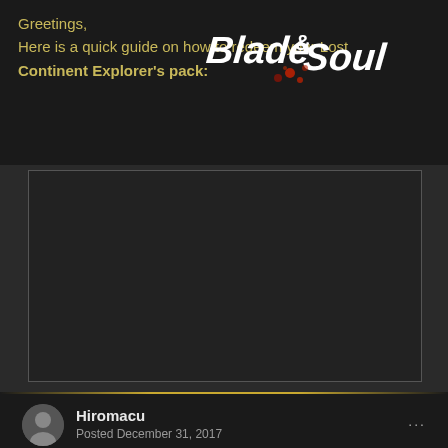Greetings,
Here is a quick guide on how to redeem your Lost Continent Explorer's pack:
[Figure (logo): Blade & Soul game logo in white stylized text with red and orange splatter accents]
[Figure (screenshot): Embedded image placeholder (dark rectangle) showing game content related to Lost Continent Explorer's pack redemption guide]
Hiromacu
Posted December 31, 2017